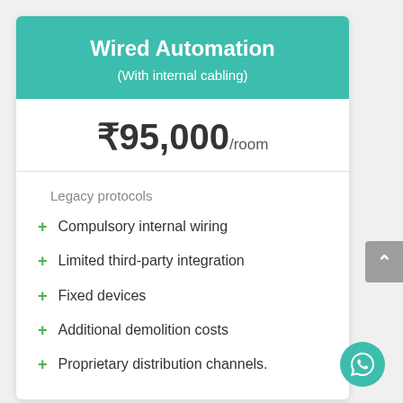Wired Automation
(With internal cabling)
₹95,000/room
Legacy protocols
+ Compulsory internal wiring
+ Limited third-party integration
+ Fixed devices
+ Additional demolition costs
+ Proprietary distribution channels.